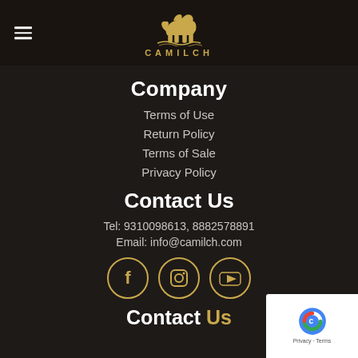CAMILCH logo and navigation
Company
Terms of Use
Return Policy
Terms of Sale
Privacy Policy
Contact Us
Tel: 9310098613, 8882578891
Email: info@camilch.com
[Figure (illustration): Social media icons: Facebook, Instagram, YouTube in gold circles]
Contact Us